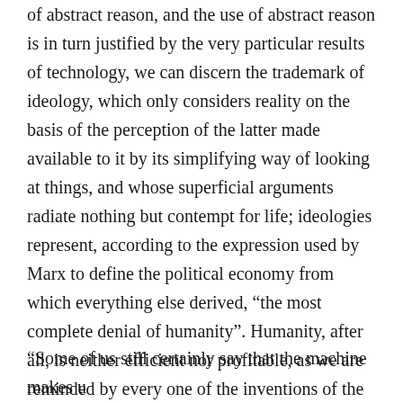of abstract reason, and the use of abstract reason is in turn justified by the very particular results of technology, we can discern the trademark of ideology, which only considers reality on the basis of the perception of the latter made available to it by its simplifying way of looking at things, and whose superficial arguments radiate nothing but contempt for life; ideologies represent, according to the expression used by Marx to define the political economy from which everything else derived, “the most complete denial of humanity”. Humanity, after all, is neither efficient nor profitable, as we are reminded by every one of the inventions of the technicians, who seek to replace nature and the human faculties, and as has been proven by the harmful phenomena that result when this conception is put into practice.
“Some of us still certainly say that the machine makes u